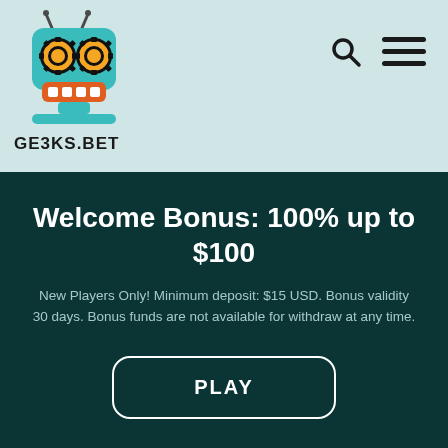[Figure (logo): Geeks.bet robot logo — a teal/orange cartoon robot head with gear-shaped eyes, antennas, on a light teal background, with GEEKS.BET text below]
Welcome Bonus: 100% up to $100
New Players Only! Minimum deposit: $15 USD. Bonus validity 30 days. Bonus funds are not available for withdraw at any time.
PLAY